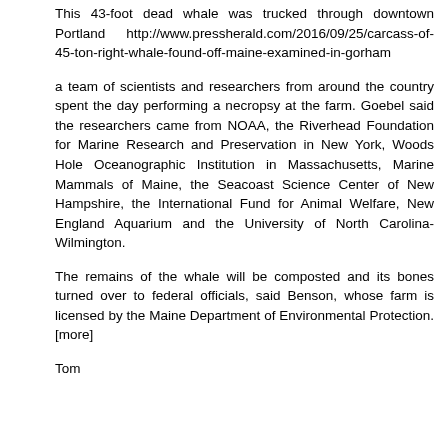This 43-foot dead whale was trucked through downtown Portland http://www.pressherald.com/2016/09/25/carcass-of-45-ton-right-whale-found-off-maine-examined-in-gorham
a team of scientists and researchers from around the country spent the day performing a necropsy at the farm. Goebel said the researchers came from NOAA, the Riverhead Foundation for Marine Research and Preservation in New York, Woods Hole Oceanographic Institution in Massachusetts, Marine Mammals of Maine, the Seacoast Science Center of New Hampshire, the International Fund for Animal Welfare, New England Aquarium and the University of North Carolina-Wilmington.
The remains of the whale will be composted and its bones turned over to federal officials, said Benson, whose farm is licensed by the Maine Department of Environmental Protection. [more]
Tom